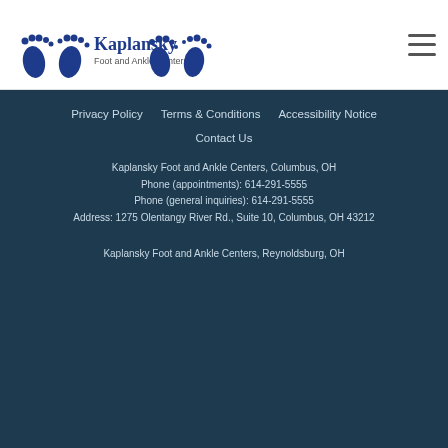[Figure (logo): Kaplansky Foot and Ankle Centers logo with blue footprint icons and text]
Privacy Policy   Terms & Conditions   Accessibility Notice   Contact Us   Kaplansky Foot and Ankle Centers, Columbus, OH   Phone (appointments): 614-291-5555   Phone (general inquiries): 614-291-5555   Address: 1275 Olentangy River Rd., Suite 10, Columbus, OH 43212   Kaplansky Foot and Ankle Centers, Reynoldsburg, OH